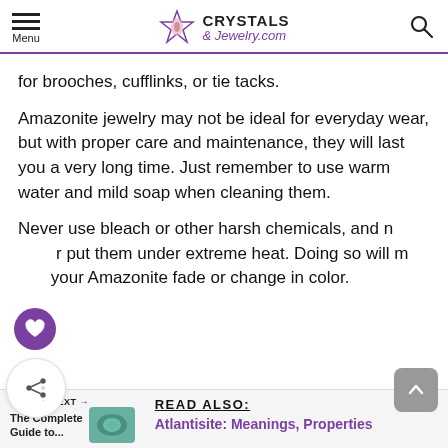Menu | Crystals & Jewelry.com
for brooches, cufflinks, or tie tacks.
Amazonite jewelry may not be ideal for everyday wear, but with proper care and maintenance, they will last you a very long time. Just remember to use warm water and mild soap when cleaning them.
Never use bleach or other harsh chemicals, and never put them under extreme heat. Doing so will make your Amazonite fade or change in color.
WHAT'S NEXT → The Complete Guide to...
READ ALSO:
Atlantisite: Meanings, Properties